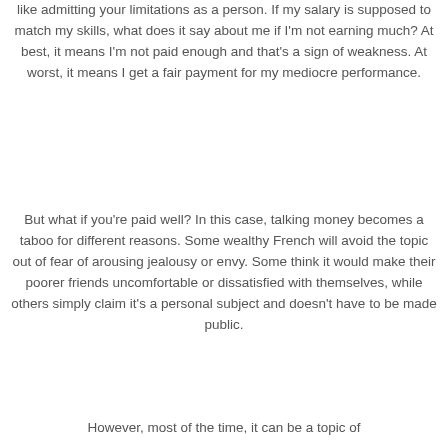like admitting your limitations as a person. If my salary is supposed to match my skills, what does it say about me if I'm not earning much? At best, it means I'm not paid enough and that's a sign of weakness. At worst, it means I get a fair payment for my mediocre performance.
But what if you're paid well? In this case, talking money becomes a taboo for different reasons. Some wealthy French will avoid the topic out of fear of arousing jealousy or envy. Some think it would make their poorer friends uncomfortable or dissatisfied with themselves, while others simply claim it's a personal subject and doesn't have to be made public.
However, most of the time, it can be a topic of